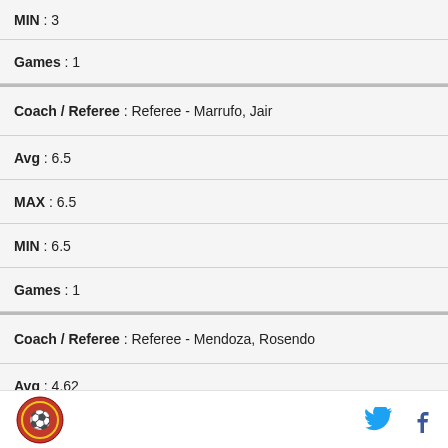MIN : 3
Games : 1
Coach / Referee : Referee - Marrufo, Jair
Avg : 6.5
MAX : 6.5
MIN : 6.5
Games : 1
Coach / Referee : Referee - Mendoza, Rosendo
Avg : 4.62
MAX : 4.62
MIN : 4.62